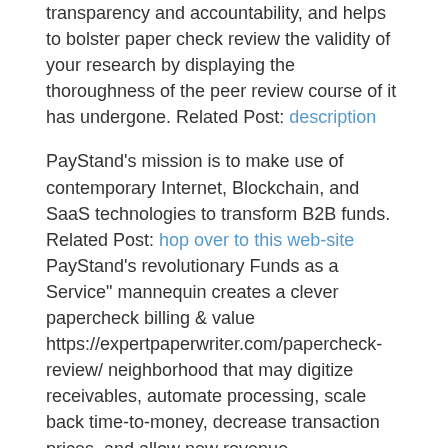transparency and accountability, and helps to bolster paper check review the validity of your research by displaying the thoroughness of the peer review course of it has undergone. Related Post: description
PayStand's mission is to make use of contemporary Internet, Blockchain, and SaaS technologies to transform B2B funds. Related Post: hop over to this web-site PayStand's revolutionary Funds as a Service" mannequin creates a clever papercheck billing & value https://expertpaperwriter.com/papercheck-review/ neighborhood that may digitize receivables, automate processing, scale back time-to-money, decrease transaction prices, and allow new revenue.